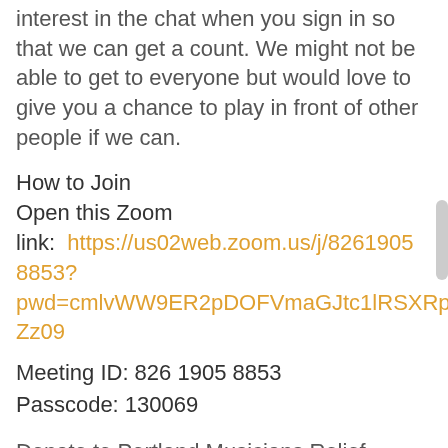interest in the chat when you sign in so that we can get a count. We might not be able to get to everyone but would love to give you a chance to play in front of other people if we can.
How to Join
Open this Zoom link:  https://us02web.zoom.us/j/82619058853?pwd=cmlvWW9ER2pDOFVmaGJtc1lRSXRpZz09
Meeting ID: 826 1905 8853
Passcode: 130069
Donate to Portland Musicians Relief